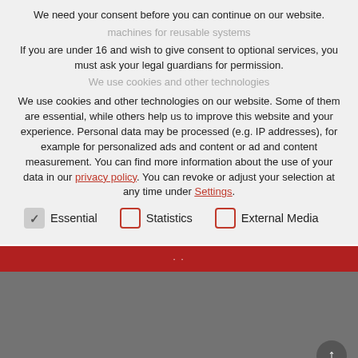We need your consent before you can continue on our website.
machines for reusable systems
If you are under 16 and wish to give consent to optional services, you must ask your legal guardians for permission.
We use cookies and other technologies on our website. Some of them are essential, while others help us to improve this website and your experience. Personal data may be processed (e.g. IP addresses), for example for personalized ads and content or ad and content measurement. You can find more information about the use of your data in our privacy policy. You can revoke or adjust your selection at any time under Settings.
Essential (checked)
Statistics (unchecked)
External Media (unchecked)
[Figure (screenshot): Red button bar and gray background section at the bottom of a cookie consent overlay]